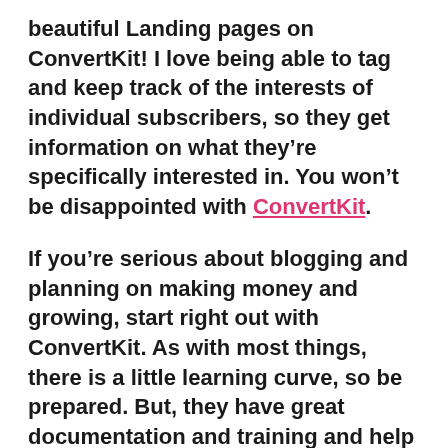beautiful Landing pages on ConvertKit! I love being able to tag and keep track of the interests of individual subscribers, so they get information on what they're specifically interested in. You won't be disappointed with ConvertKit.
If you're serious about blogging and planning on making money and growing, start right out with ConvertKit. As with most things, there is a little learning curve, so be prepared. But, they have great documentation and training and help you all the way.
Ivory Mix Images for Your